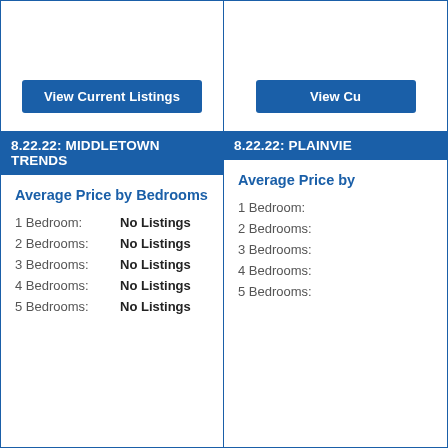View Current Listings
8.22.22: MIDDLETOWN TRENDS
Average Price by Bedrooms
1 Bedroom: No Listings
2 Bedrooms: No Listings
3 Bedrooms: No Listings
4 Bedrooms: No Listings
5 Bedrooms: No Listings
View Cu[rrent Listings]
8.22.22: PLAINVIEW TRENDS
Average Price by Bedrooms
1 Bedroom:
2 Bedrooms:
3 Bedrooms:
4 Bedrooms:
5 Bedrooms: